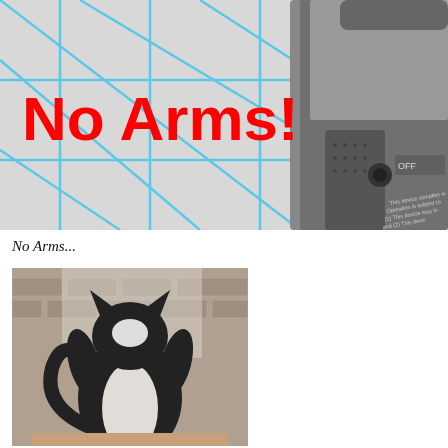[Figure (photo): Close-up photo of a device (appears to be a gun or remote control) with metallic/dark grey body, showing 'OFF' text and FCC compliance text on the side. Overlaid with a light grey background with blue grid lines and large red bold text 'No Arms!' on the left portion.]
No Arms...
[Figure (photo): Sepia/black-and-white photo of a cat sitting with its back to the viewer, looking up at a window. The cat is black and white, sitting on what appears to be a chair, with a brick wall visible in the background.]